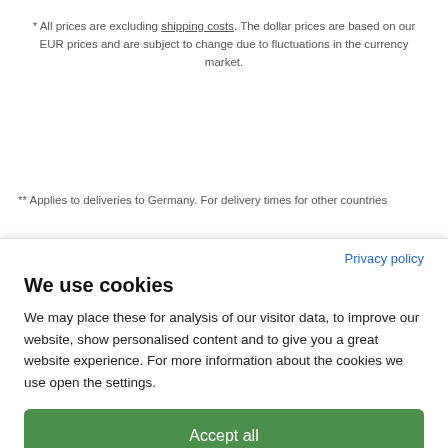* All prices are excluding shipping costs. The dollar prices are based on our EUR prices and are subject to change due to fluctuations in the currency market.
** Applies to deliveries to Germany. For delivery times for other countries
Privacy policy
We use cookies
We may place these for analysis of our visitor data, to improve our website, show personalised content and to give you a great website experience. For more information about the cookies we use open the settings.
Accept all
Deny
No, adjust
Impressum
Bear Family Records - Proud to be Independent - Specialised in premium quality re-issues. One of the world's most renowned, multiple award-winning record companies. Our catalog contains